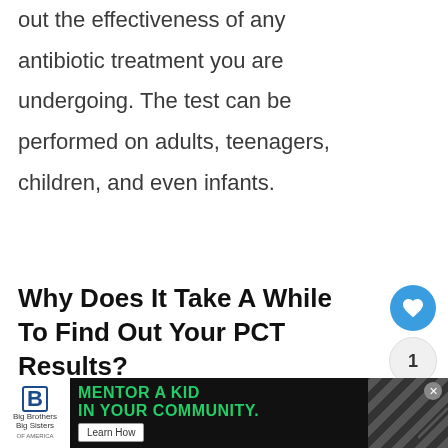out the effectiveness of any antibiotic treatment you are undergoing. The test can be performed on adults, teenagers, children, and even infants.
Why Does It Take A While To Find Out Your PCT Results?
When you ask for a PCT test, you will be instructed to get a blood sample test.
[Figure (screenshot): Social action buttons: heart/like button (blue circle), count '1', and share button]
[Figure (screenshot): WHAT'S NEXT widget showing 'How Long After Parvo...' with a circular thumbnail]
[Figure (screenshot): Advertisement banner: Big Brothers Big Sisters - MENTOR A KID IN YOUR COMMUNITY - Learn How]